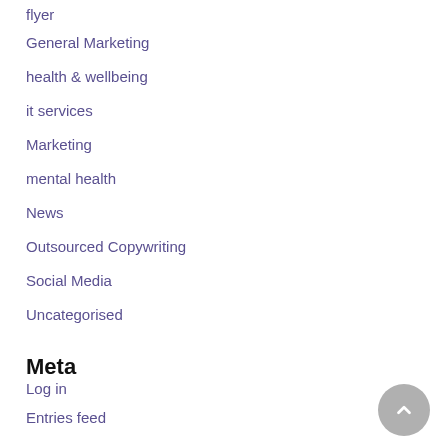flyer
General Marketing
health & wellbeing
it services
Marketing
mental health
News
Outsourced Copywriting
Social Media
Uncategorised
Meta
Log in
Entries feed
Comments feed
WordPress.org